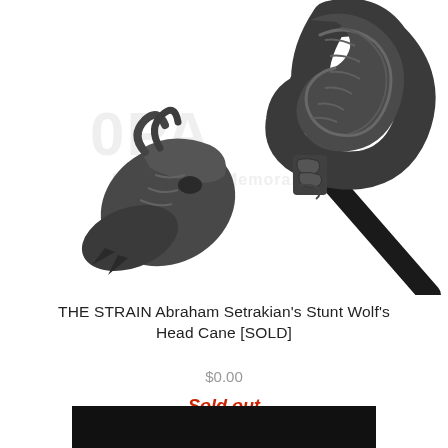[Figure (photo): Ornate silver wolf's head cane handle with detailed carved decoration, mounted on a black shaft, photographed against white background. A faint watermark reading 'PROPABILIA Movie Memorabilia' is visible.]
THE STRAIN Abraham Setrakian's Stunt Wolf's Head Cane [SOLD]
$0.00
Sold out